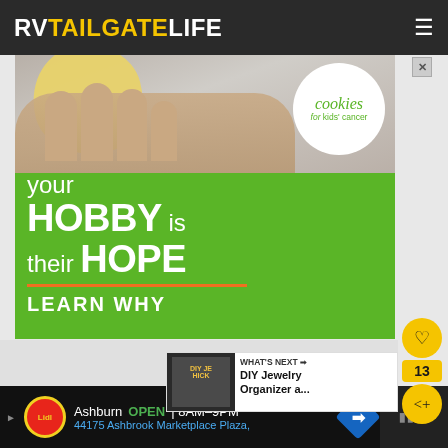RV TAILGATE LIFE
[Figure (screenshot): Advertisement for Cookies for Kids' Cancer: green background with hands holding a yellow cookie, circular white logo reading 'cookies for kids' cancer', large white text reading 'your HOBBY is their HOPE' with orange underline, and 'LEARN WHY' call to action]
WHAT'S NEXT → DIY Jewelry Organizer a...
Ashburn  OPEN | 8AM–9PM  44175 Ashbrook Marketplace Plaza,